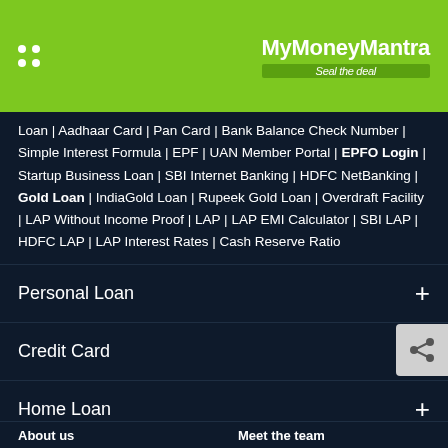MyMoneyMantra — Seal the deal
Loan | Aadhaar Card | Pan Card | Bank Balance Check Number | Simple Interest Formula | EPF | UAN Member Portal | EPFO Login | Startup Business Loan | SBI Internet Banking | HDFC NetBanking | Gold Loan | IndiaGold Loan | Rupeek Gold Loan | Overdraft Facility | LAP Without Income Proof | LAP | LAP EMI Calculator | SBI LAP | HDFC LAP | LAP Interest Rates | Cash Reserve Ratio
Personal Loan +
Credit Card +
Home Loan +
Credit Score +
About us | Meet the team